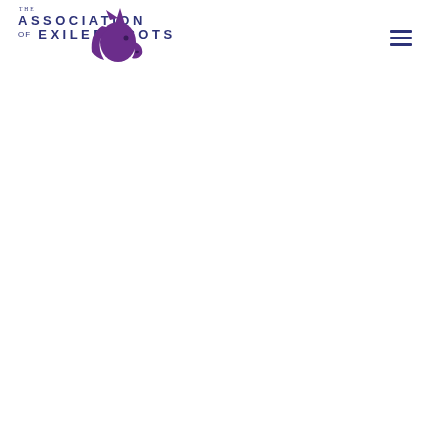[Figure (logo): The Association of Exiled Scots logo: navy blue text reading 'THE' in small caps above 'ASSOCIATION' and 'of EXILED SCOTS' in spaced uppercase letters, overlaid with a purple unicorn head silhouette facing right]
[Figure (other): Hamburger menu icon — three horizontal navy blue lines stacked vertically, positioned in the top-right corner]